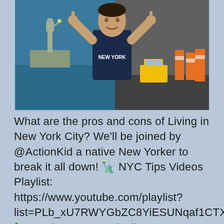[Figure (photo): A person in a New York Yankees jersey making finger-guns or pointing upward with both hands, with a composite background showing the Statue of Liberty on the left side and a busy NYC street scene with yellow taxis and orange construction barriers on the right side.]
What are the pros and cons of Living in New York City? We'll be joined by @ActionKid a native New Yorker to break it all down! 🗽 NYC Tips Videos Playlist: https://www.youtube.com/playlist?list=PLb_xU7RWYGbZC8YiESUNqaf1CTXy6iEK8 🗽 Moving to NYC Playlist: https://www.youtube.com/playlist?list=PLb_xU7RWYGbYx0gd_kJBFJrCqpF6Qjkt